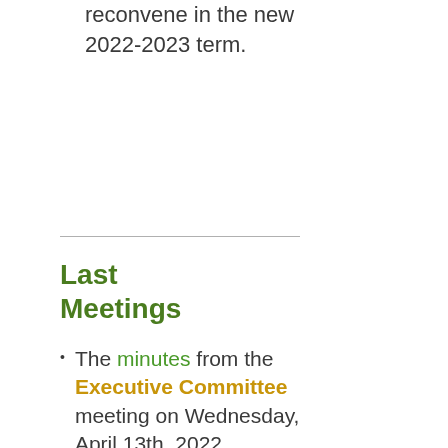reconvene in the new 2022-2023 term.
Last Meetings
The minutes from the Executive Committee meeting on Wednesday, April 13th, 2022